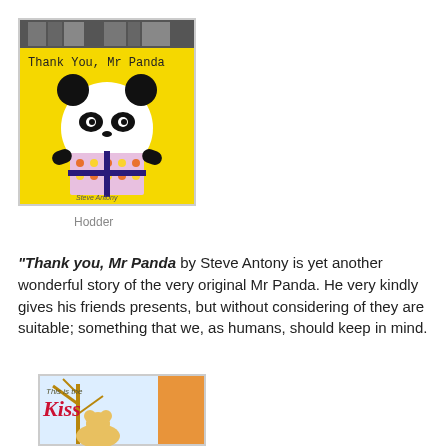[Figure (photo): Book cover of 'Thank You, Mr Panda' featuring a cartoon panda holding a wrapped gift on a yellow background]
Hodder
“Thank you, Mr Panda by Steve Antony is yet another wonderful story of the very original Mr Panda.  He very kindly gives his friends presents, but without considering of they are suitable; something that we, as humans, should keep in mind.
[Figure (photo): Book cover of 'This is the Kiss' featuring a bear illustration with decorative text]